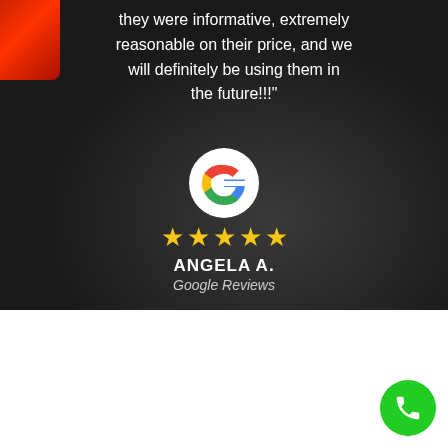[Figure (photo): Dark asphalt/parking lot background with a red car visible at the top left corner, serving as the background for a Google review testimonial.]
they were informative, extremely reasonable on their price, and we will definitely be using them in the future!!!"
[Figure (logo): Google 'G' logo in multicolor (red, yellow, green, blue)]
★★★★★
ANGELA A.
Google Reviews
Proudly Serving Detrick An amazing Virginia town!